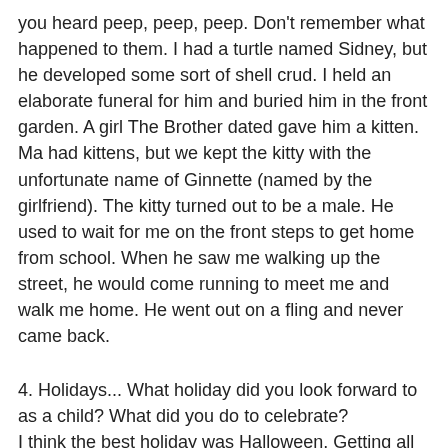you heard peep, peep, peep. Don't remember what happened to them. I had a turtle named Sidney, but he developed some sort of shell crud. I held an elaborate funeral for him and buried him in the front garden. A girl The Brother dated gave him a kitten. Ma had kittens, but we kept the kitty with the unfortunate name of Ginnette (named by the girlfriend). The kitty turned out to be a male. He used to wait for me on the front steps to get home from school. When he saw me walking up the street, he would come running to meet me and walk me home. He went out on a fling and never came back.
4. Holidays... What holiday did you look forward to as a child? What did you do to celebrate?
I think the best holiday was Halloween. Getting all dressed up in a costume and going around the neighborhood begging for candy.
5. Food... Were you a picky eater when you were a kid? What were your favorite foods? Do you still like those foods today?